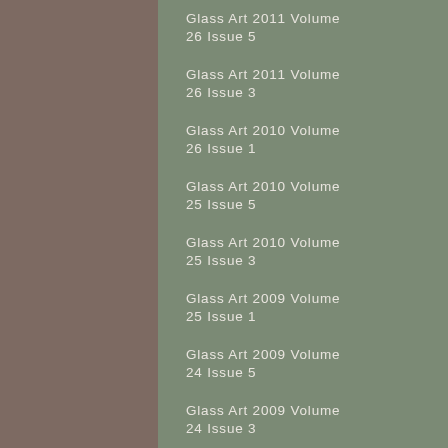Glass Art 2011 Volume 26 Issue 5
Glass Art 2011 Volume 26 Issue 4
Glass Art 2011 Volume 26 Issue 3
Glass Art 2011 Volume 26 Issue 2
Glass Art 2010 Volume 26 Issue 1
Glass Art 2010 Volume 25 Issue 6
Glass Art 2010 Volume 25 Issue 5
Glass Art 2010 Volume 25 Issue 4
Glass Art 2010 Volume 25 Issue 3
Glass Art 2010 Volume 25 Issue 2
Glass Art 2009 Volume 25 Issue 1
Glass Art 2009 Volume 24 Issue 6
Glass Art 2009 Volume 24 Issue 5
Glass Art 2009 Volume 24 Issue 4
Glass Art 2009 Volume 24 Issue 3
Glass Art 2009 Volume 24 Issue 2